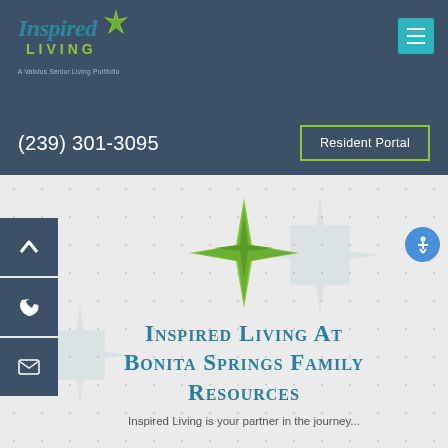[Figure (logo): Inspired Living logo with star/compass icon and tagline 'A Validus Senior Living Portfolio' on dark blue header]
(239) 301-3095
Resident Portal
[Figure (illustration): Green star/compass icon centered on light dotted background]
Inspired Living At Bonita Springs Family Resources
Inspired Living is your partner in the journey...